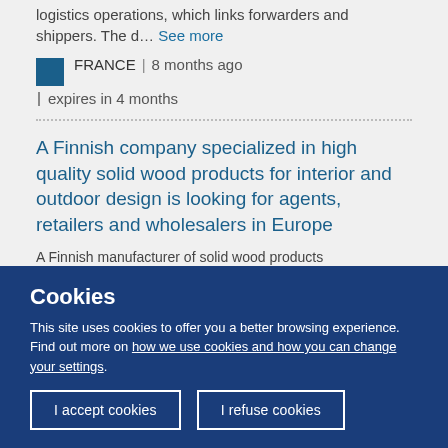logistics operations, which links forwarders and shippers. The d… See more
FRANCE | 8 months ago | expires in 4 months
A Finnish company specialized in high quality solid wood products for interior and outdoor design is looking for agents, retailers and wholesalers in Europe
A Finnish manufacturer of solid wood products
Cookies
This site uses cookies to offer you a better browsing experience. Find out more on how we use cookies and how you can change your settings.
I accept cookies
I refuse cookies